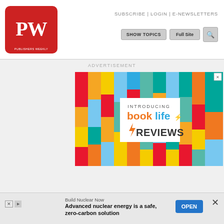SUBSCRIBE | LOGIN | E-NEWSLETTERS
SHOW TOPICS | Full Site
[Figure (logo): Publishers Weekly PW logo in red rounded square]
ADVERTISEMENT
[Figure (illustration): BookLife Reviews advertisement with colorful vertical bars and orange lightning bolt logo. Text reads: INTRODUCING booklife REVIEWS]
Build Nuclear Now
Advanced nuclear energy is a safe, zero-carbon solution
OPEN